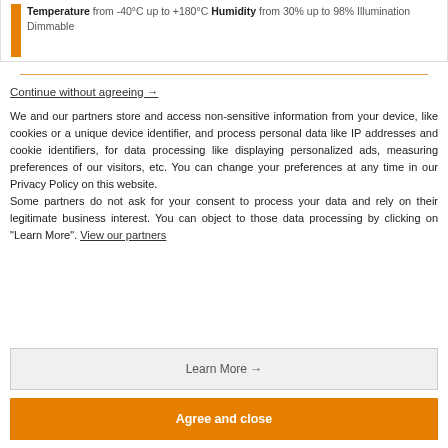Temperature from -40°C up to +180°C Humidity from 30% up to 98% Illumination Dimmable
Continue without agreeing →
We and our partners store and access non-sensitive information from your device, like cookies or a unique device identifier, and process personal data like IP addresses and cookie identifiers, for data processing like displaying personalized ads, measuring preferences of our visitors, etc. You can change your preferences at any time in our Privacy Policy on this website.
Some partners do not ask for your consent to process your data and rely on their legitimate business interest. You can object to those data processing by clicking on "Learn More". View our partners
Learn More →
Agree and close